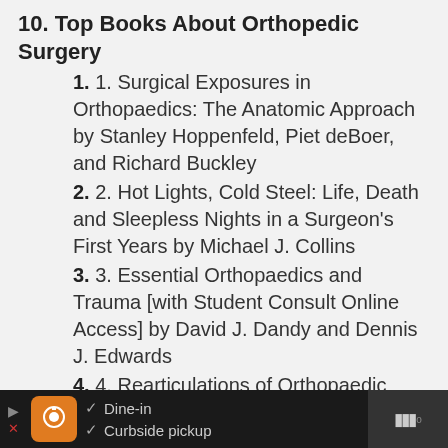10. Top Books About Orthopedic Surgery
1. 1. Surgical Exposures in Orthopaedics: The Anatomic Approach by Stanley Hoppenfeld, Piet deBoer, and Richard Buckley
2. 2. Hot Lights, Cold Steel: Life, Death and Sleepless Nights in a Surgeon's First Years by Michael J. Collins
3. 3. Essential Orthopaedics and Trauma [with Student Consult Online Access] by David J. Dandy and Dennis J. Edwards
4. 4. Rearticulations of Orthopaedic Surgery: The Process of Specialty
[Figure (screenshot): Mobile advertisement bar showing Dine-in and Curbside pickup options with restaurant logo and navigation icons]